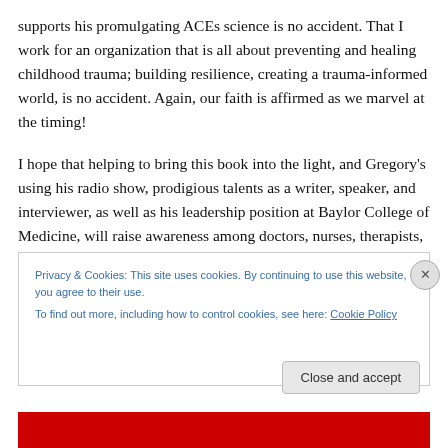supports his promulgating ACEs science is no accident. That I work for an organization that is all about preventing and healing childhood trauma; building resilience, creating a trauma-informed world, is no accident. Again, our faith is affirmed as we marvel at the timing!
I hope that helping to bring this book into the light, and Gregory's using his radio show, prodigious talents as a writer, speaker, and interviewer, as well as his leadership position at Baylor College of Medicine, will raise awareness among doctors, nurses, therapists, social
Privacy & Cookies: This site uses cookies. By continuing to use this website, you agree to their use.
To find out more, including how to control cookies, see here: Cookie Policy
Close and accept